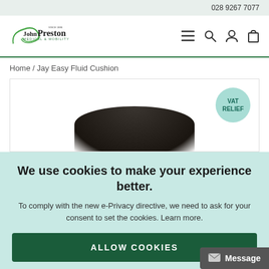028 9267 7077
[Figure (logo): John Preston Medical & Mobility logo with green swoosh]
Home / Jay Easy Fluid Cushion
[Figure (photo): Jay Easy Fluid Cushion product image with VAT RELIEF badge]
We use cookies to make your experience better.
To comply with the new e-Privacy directive, we need to ask for your consent to set the cookies. Learn more.
ALLOW COOKIES
Message